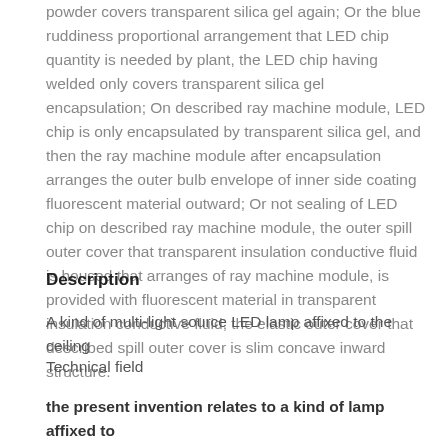powder covers transparent silica gel again; Or the blue ruddiness proportional arrangement that LED chip quantity is needed by plant, the LED chip having welded only covers transparent silica gel encapsulation; On described ray machine module, LED chip is only encapsulated by transparent silica gel, and then the ray machine module after encapsulation arranges the outer bulb envelope of inner side coating fluorescent material outward; Or not sealing of LED chip on described ray machine module, the outer spill outer cover that transparent insulation conductive fluid is housed that arranges of ray machine module, is provided with fluorescent material in transparent insulation conductive fluid, the elastic outer cover that described spill outer cover is slim concave inward structure.
Description
A kind of multi-light source LED lamp affixed to the ceiling
Technical field
the present invention relates to a kind of lamp affixed to